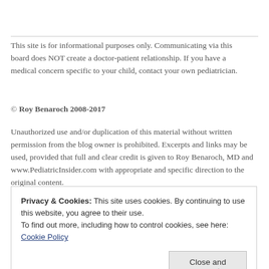This site is for informational purposes only. Communicating via this board does NOT create a doctor-patient relationship. If you have a medical concern specific to your child, contact your own pediatrician.
© Roy Benaroch 2008-2017
Unauthorized use and/or duplication of this material without written permission from the blog owner is prohibited. Excerpts and links may be used, provided that full and clear credit is given to Roy Benaroch, MD and www.PediatricInsider.com with appropriate and specific direction to the original content.
Privacy & Cookies: This site uses cookies. By continuing to use this website, you agree to their use.
To find out more, including how to control cookies, see here: Cookie Policy
notifications of new posts by email.